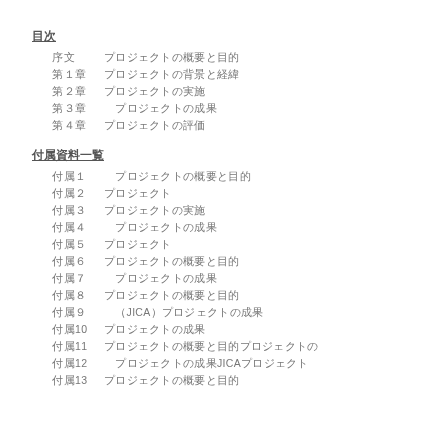目次
序文　　　プロジェクトの概要と目的
第１章　　プロジェクトの背景と経緯
第２章　　プロジェクトの実施
第３章　　　プロジェクトの成果
第４章　　プロジェクトの評価
付属資料一覧
付属１　　プロジェクトの概要と目的
付属２　プロジェクト
付属３　プロジェクトの実施
付属４　　プロジェクトの成果
付属５　プロジェクト
付属６　プロジェクトの概要と目的
付属７　　プロジェクトの成果
付属８　プロジェクトの概要と目的
付属９　　（JICA）プロジェクトの成果
付属10　プロジェクトの成果
付属11　プロジェクトの概要と目的プロジェクトの
付属12　　プロジェクトの成果JICA プロジェクト
付属13　プロジェクトの概要と目的